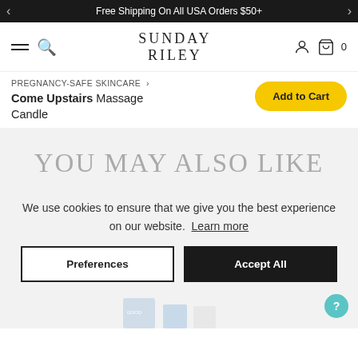Free Shipping On All USA Orders $50+
SUNDAY RILEY
PREGNANCY-SAFE SKINCARE › Come Upstairs Massage Candle
Add to Cart
YOU MAY ALSO LIKE
We use cookies to ensure that we give you the best experience on our website. Learn more
Preferences
Accept All